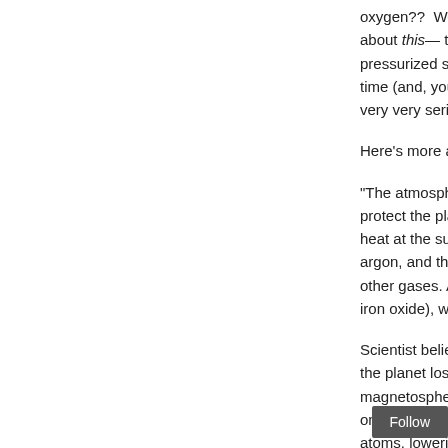oxygen??  Well, I guess if you think about this— that if you were not in a pressurized space suit you'd have a bad time (and, you WILL get sick and have very very serious physical c...
Here's more about the reali...
"The atmosphere of Mars is... protect the planet from the S... heat at the surface. It consis... argon, and the remainder is... other gases. Also, it is cons... iron oxide), which give Mars...
Scientist believe that the atr... the planet lost its magnetos... magnetosphere would chan... one, the solar wind interacts... atoms, loweri... have been d...